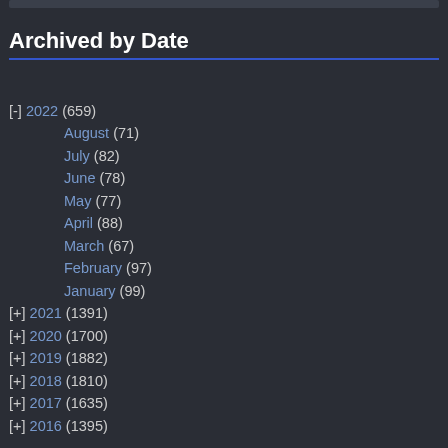Archived by Date
[-] 2022 (659)
August (71)
July (82)
June (78)
May (77)
April (88)
March (67)
February (97)
January (99)
[+] 2021 (1391)
[+] 2020 (1700)
[+] 2019 (1882)
[+] 2018 (1810)
[+] 2017 (1635)
[+] 2016 (1395)